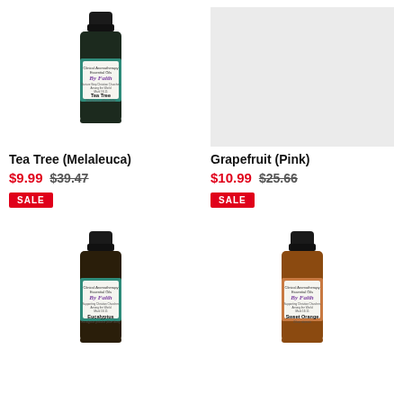[Figure (photo): Tea Tree essential oil bottle with teal label, Clinical Aromatherapy Essential Oils, By Faith brand]
[Figure (photo): Grapefruit (Pink) essential oil bottle placeholder, gray/white area]
Tea Tree (Melaleuca)
$9.99  $39.47
SALE
Grapefruit (Pink)
$10.99  $25.66
SALE
[Figure (photo): Eucalyptus essential oil bottle with green label, Clinical Aromatherapy Essential Oils, By Faith brand]
[Figure (photo): Sweet Orange essential oil bottle with orange label, Clinical Aromatherapy Essential Oils, By Faith brand]